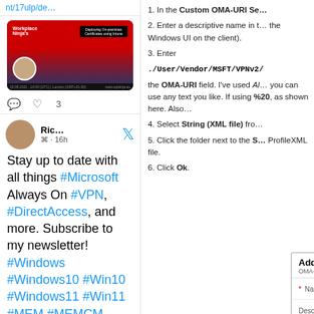nt/17ulp/de…
[Figure (screenshot): Twitter/social media post with a red and dark blue banner image about deploying on-premises certificates using Intune, showing ninja characters and a man's photo]
♡ 3
Ric… · 16h — Stay up to date with all things #Microsoft Always On #VPN, #DirectAccess, and more. Subscribe to my newsletter! #Windows #Windows10 #Win10 #Windows11 #Win11 #MEM #MEMCM #msintune #mobility
1. In the Custom OMA-URI Se…
2. Enter a descriptive name in t… the Windows UI on the client).
3. Enter ./User/Vendor/MSFT/VPNv2… the OMA-URI field. I've used Al… you can use any text you like. If using %20, as shown here. Also…
4. Select String (XML file) from…
5. Click the folder next to the S… ProfileXML file.
6. Click Ok.
[Figure (screenshot): Add Row dialog for OMA-URI Settings with fields for Name (required), Description, and OMA-URI (required), with purple-bordered input boxes]